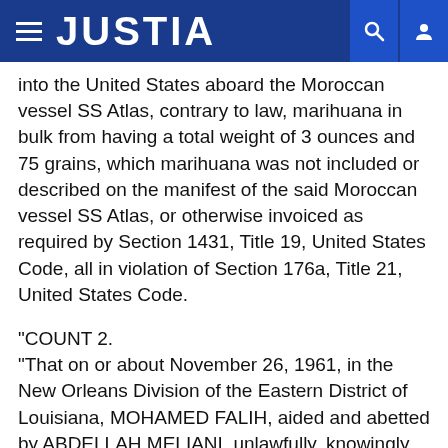JUSTIA
into the United States aboard the Moroccan vessel SS Atlas, contrary to law, marihuana in bulk from having a total weight of 3 ounces and 75 grains, which marihuana was not included or described on the manifest of the said Moroccan vessel SS Atlas, or otherwise invoiced as required by Section 1431, Title 19, United States Code, all in violation of Section 176a, Title 21, United States Code.
"COUNT 2. "That on or about November 26, 1961, in the New Orleans Division of the Eastern District of Louisiana, MOHAMED FALIH, aided and abetted by ABDELLAH MELIANI, unlawfully, knowingly and feloniously sold, bartered and exchanged to Customs Enforcement Officer Joseph E. Burns, Jr. a narcotic drug, to wit: 247 grains of marihuana in bulk form, knowing the same to have been imported into the United States contrary to be all in violation of Section 176a, Title 21, United States Code.